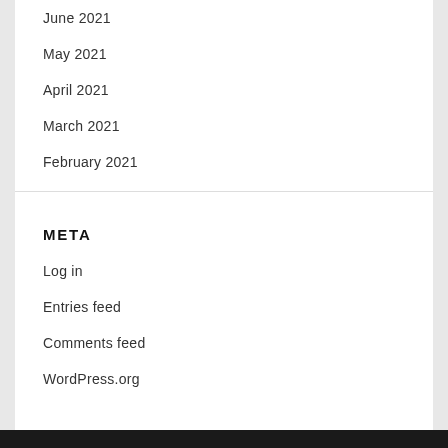June 2021
May 2021
April 2021
March 2021
February 2021
META
Log in
Entries feed
Comments feed
WordPress.org